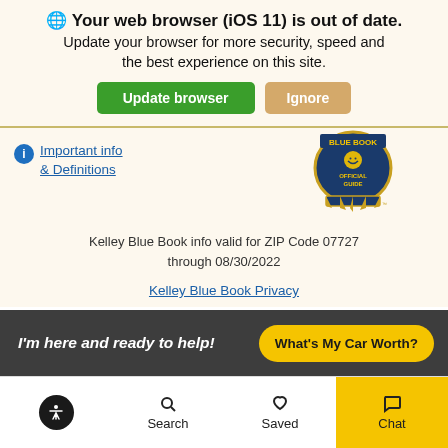Your web browser (iOS 11) is out of date.
Update your browser for more security, speed and the best experience on this site.
Update browser | Ignore
[Figure (logo): Kelley Blue Book Official Guide badge/seal logo]
Important info & Definitions
Kelley Blue Book info valid for ZIP Code 07727 through 08/30/2022
Kelley Blue Book Privacy
I'm here and ready to help!
What's My Car Worth?
Search | Saved | Chat